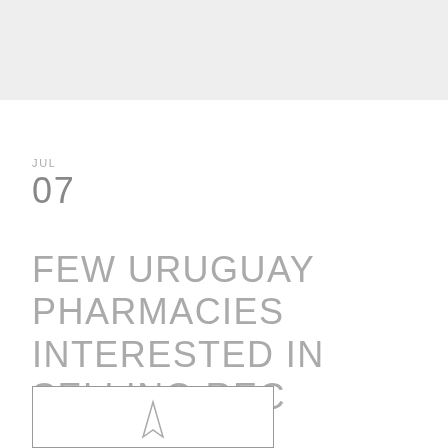JUL
07
FEW URUGUAY PHARMACIES INTERESTED IN SELLING REC CANNABIS
[Figure (photo): Partial image of a cannabis-related photo, bottom portion visible]